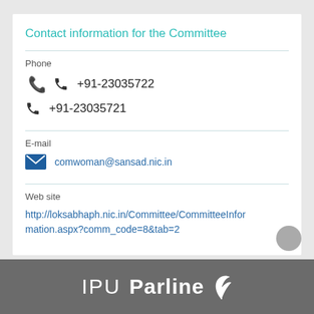Contact information for the Committee
Phone
+91-23035722
+91-23035721
E-mail
comwoman@sansad.nic.in
Web site
http://loksabhaph.nic.in/Committee/CommitteeInformation.aspx?comm_code=8&tab=2
IPU Parline